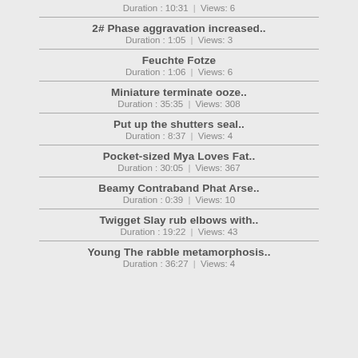Duration : 10:31 | Views: 6
2# Phase aggravation increased.. — Duration : 1:05 | Views: 3
Feuchte Fotze — Duration : 1:06 | Views: 6
Miniature terminate ooze.. — Duration : 35:35 | Views: 308
Put up the shutters seal.. — Duration : 8:37 | Views: 4
Pocket-sized Mya Loves Fat.. — Duration : 30:05 | Views: 367
Beamy Contraband Phat Arse.. — Duration : 0:39 | Views: 10
Twigget Slay rub elbows with.. — Duration : 19:22 | Views: 43
Young The rabble metamorphosis.. — Duration : 36:27 | Views: 4